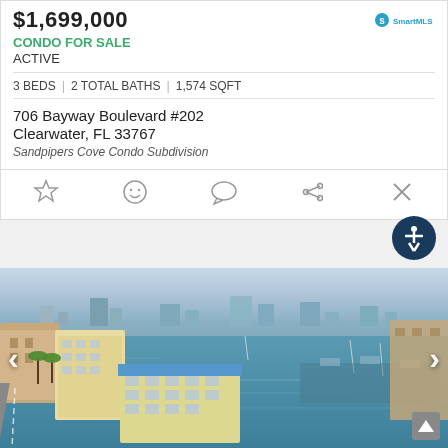$1,699,000
CONDO FOR SALE
ACTIVE
3 BEDS | 2 TOTAL BATHS | 1,574 SQFT
706 Bayway Boulevard #202
Clearwater, FL 33767
Sandpipers Cove Condo Subdivision
[Figure (photo): Aerial view of a waterfront marina community in Clearwater, FL. Shows a blue-green harbor with sailboats and motorboats, residential and commercial buildings along the shore, palm trees, and a city skyline in the background.]